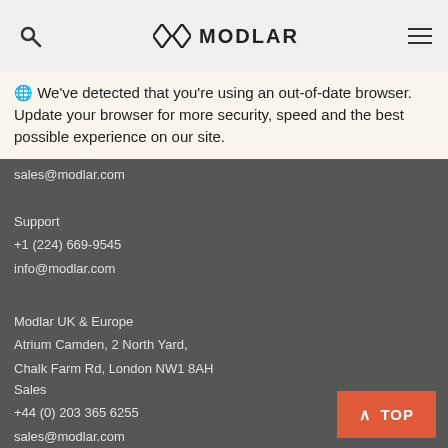MODLAR (navigation header with search and menu icons)
🌐 We've detected that you're using an out-of-date browser. Update your browser for more security, speed and the best possible experience on our site.
Modlar Headquarters
+1 (224) 503 4240
sales@modlar.com
Support
+1 (224) 669-9545
info@modlar.com
Modlar UK & Europe
Atrium Camden, 2 North Yard,
Chalk Farm Rd, London NW1 8AH
Sales
+44 (0) 203 365 6255
sales@modlar.com